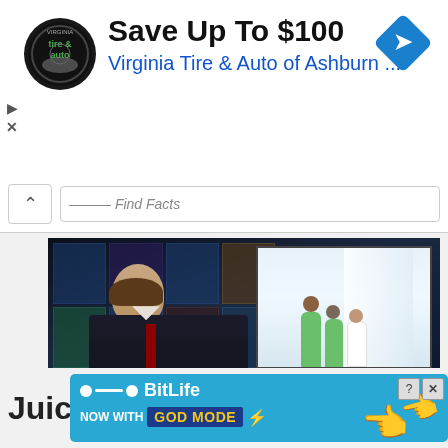[Figure (screenshot): Advertisement banner: Virginia Tire & Auto of Ashburn – Save Up To $100, with circular tire & auto logo and blue diamond navigation icon]
[Figure (screenshot): Search bar area with chevron up arrow and partially visible text input field]
[Figure (screenshot): Breaking news video thumbnail showing news anchor in studio, inset of hospital corridor with medical staff, lower-third with BREAKING NEWS / NEWS LIVE banner and CORONAVIRUS PANDEMIC headline. Monetized by optAd360 label in corner.]
[Figure (screenshot): BitLife advertisement banner: NOW WITH GOD MODE, with hand pointing icon, on blue background. Partially overlapping with text 'Juic' on left.]